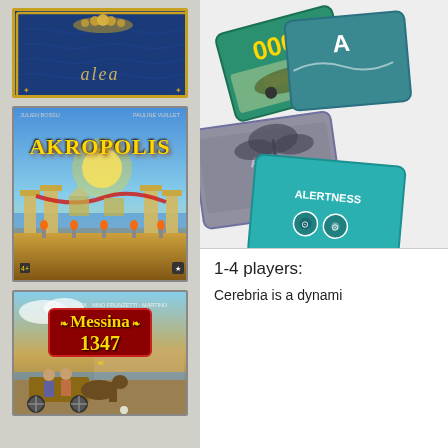[Figure (photo): Alea board game box cover with blue background and gold ornaments, text 'alea']
[Figure (photo): Akropolis board game box cover showing ancient Greek acropolis with columns and golden title]
[Figure (photo): Messina 1347 board game box cover showing medieval scene with cart and coastal town]
[Figure (photo): Cerebria board game cards spread out showing various game cards with colorful artwork]
1-4 players:
Cerebria is a dynami